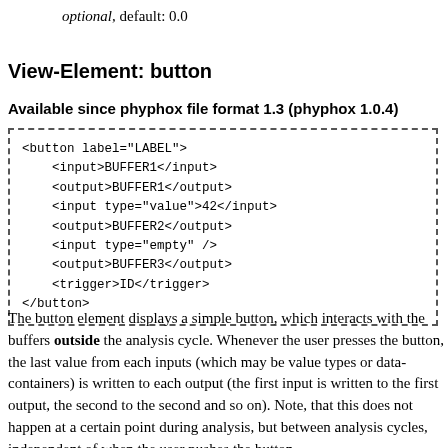optional, default: 0.0
View-Element: button
Available since phyphox file format 1.3 (phyphox 1.0.4)
<button label="LABEL">
    <input>BUFFER1</input>
    <output>BUFFER1</output>
    <input type="value">42</input>
    <output>BUFFER2</output>
    <input type="empty" />
    <output>BUFFER3</output>
    <trigger>ID</trigger>
</button>
The button element displays a simple button, which interacts with the buffers outside the analysis cycle. Whenever the user presses the button, the last value from each inputs (which may be value types or data-containers) is written to each output (the first input is written to the first output, the second to the second and so on). Note, that this does not happen at a certain point during analysis, but between analysis cycles, independent of when the user pushes the button.